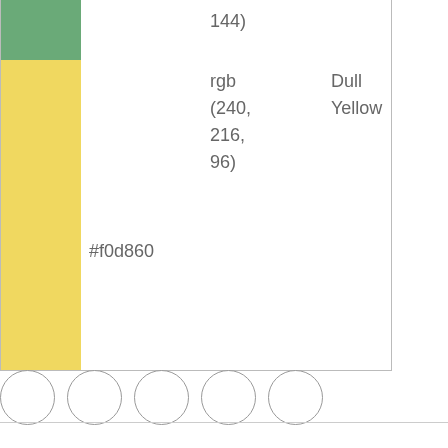| Color | Hex | RGB | Name |
| --- | --- | --- | --- |
| [green swatch] |  | 144) |  |
| [yellow swatch] | #f0d860 | rgb (240, 216, 96) | Dull Yellow |
[Figure (other): Five empty white circles arranged horizontally]